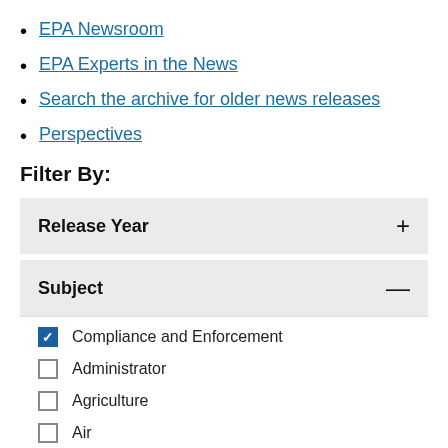EPA Newsroom
EPA Experts in the News
Search the archive for older news releases
Perspectives
Filter By:
Release Year +
Subject −
Compliance and Enforcement (checked)
Administrator (unchecked)
Agriculture (unchecked)
Air (unchecked)